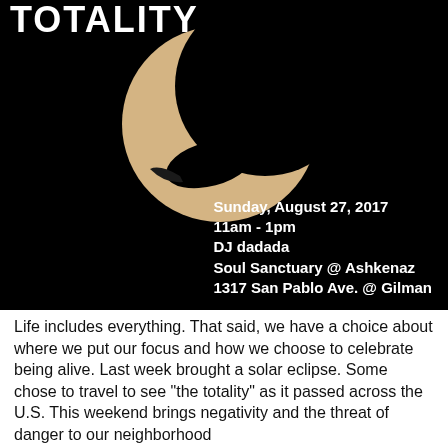[Figure (photo): Solar eclipse photo showing crescent sun with bird silhouette against black background, with white bold text overlay: 'Sunday, August 27, 2017 / 11am - 1pm / DJ dadada / Soul Sanctuary @ Ashkenaz / 1317 San Pablo Ave. @ Gilman'. Partial title text 'TOTALITY' visible at top.]
Life includes everything. That said, we have a choice about where we put our focus and how we choose to celebrate being alive. Last week brought a solar eclipse. Some chose to travel to see "the totality" as it passed across the U.S. This weekend brings negativity and the threat of danger to our neighborhood